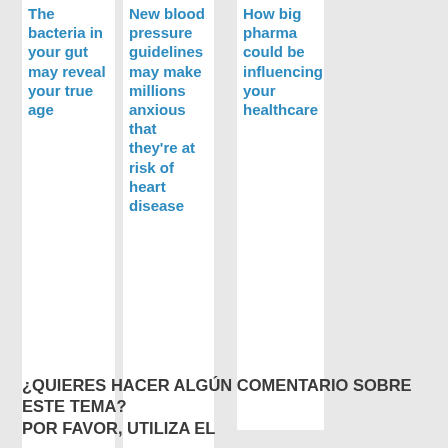The bacteria in your gut may reveal your true age
New blood pressure guidelines may make millions anxious that they're at risk of heart disease
How big pharma could be influencing your healthcare
¿QUIERES HACER ALGÚN COMENTARIO SOBRE ESTE TEMA?
POR FAVOR, UTILIZA EL